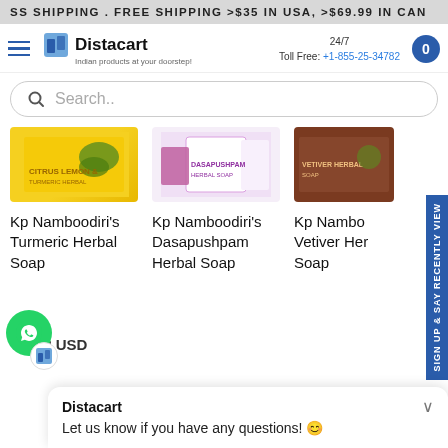SS SHIPPING . FREE SHIPPING >$35 IN USA, >$69.99 IN CAN
[Figure (logo): Distacart logo with shopping bag icon and tagline 'Indian products at your doorstep']
24/7
Toll Free: +1-855-25-34782
Search..
[Figure (photo): Kp Namboodiri's Turmeric Herbal Soap product image - yellow packaging]
[Figure (photo): Kp Namboodiri's Dasapushpam Herbal Soap product image - pink/white packaging]
[Figure (photo): Kp Namboodiri's Vetiver Herbal Soap product image - brown packaging]
Kp Namboodiri's Turmeric Herbal Soap
Kp Namboodiri's Dasapushpam Herbal Soap
Kp Namboodiri's Vetiver Herbal Soap
$8.18 USD
Sign up & say
RECENTLY VIEW
Distacart
Let us know if you have any questions! ☺